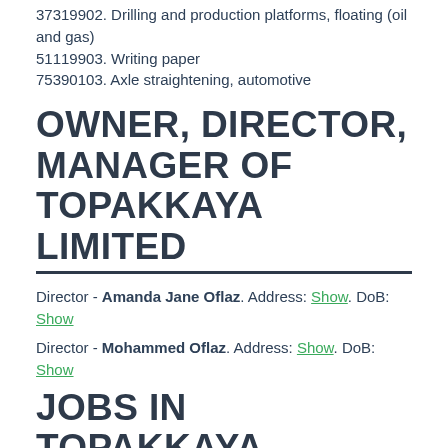37319902. Drilling and production platforms, floating (oil and gas)
51119903. Writing paper
75390103. Axle straightening, automotive
OWNER, DIRECTOR, MANAGER OF TOPAKKAYA LIMITED
Director - Amanda Jane Oflaz. Address: Show. DoB: Show
Director - Mohammed Oflaz. Address: Show. DoB: Show
JOBS IN TOPAKKAYA LIMITED, VACANCIES. CAREER AND TRAINING ON TOPAKKAYA LIMITED,